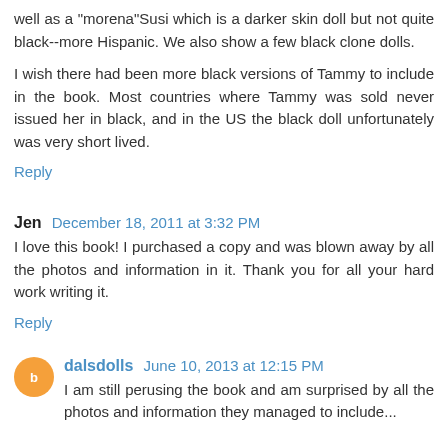well as a "morena" Susi which is a darker skin doll but not quite black--more Hispanic. We also show a few black clone dolls.
I wish there had been more black versions of Tammy to include in the book. Most countries where Tammy was sold never issued her in black, and in the US the black doll unfortunately was very short lived.
Reply
Jen  December 18, 2011 at 3:32 PM
I love this book! I purchased a copy and was blown away by all the photos and information in it. Thank you for all your hard work writing it.
Reply
dalsdolls  June 10, 2013 at 12:15 PM
I am still perusing the book and am surprised by all the photos and information they managed to include...